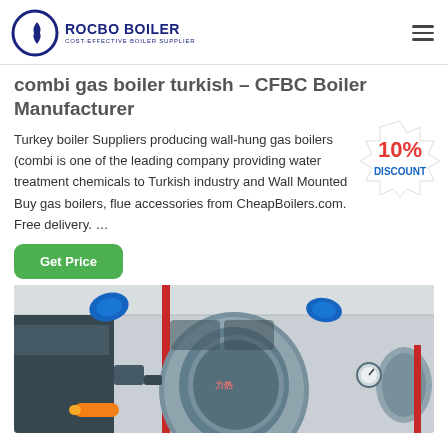ROCBO BOILER — COST-EFFECTIVE BOILER SUPPLIER
combi gas boiler turkish – CFBC Boiler Manufacturer
Turkey boiler Suppliers producing wall-hung gas boilers (combi is one of the leading company providing water treatment chemicals to Turkish industry and Wall Mounted Buy gas boilers, flue accessories from CheapBoilers.com. Free delivery. …
[Figure (infographic): 10% DISCOUNT badge/sticker overlaid on the text area]
Get Price
[Figure (photo): Industrial boiler room showing gas boilers with blue pipe fittings, red pipes, yellow pipes, and pressure gauges]